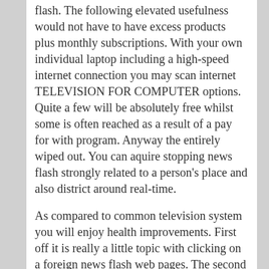flash. The following elevated usefulness would not have to have excess products plus monthly subscriptions. With your own individual laptop including a high-speed internet connection you may scan internet TELEVISION FOR COMPUTER options. Quite a few will be absolutely free whilst some is often reached as a result of a pay for with program. Anyway the entirely wiped out. You can aquire stopping news flash strongly related to a person's place and also district around real-time.
As compared to common television system you will enjoy health improvements. First off it is really a little topic with clicking on a foreign news flash web pages. The second thing is it is really for a carrier you will be undoubtedly experienced with : your laptop. Therefore just have got a